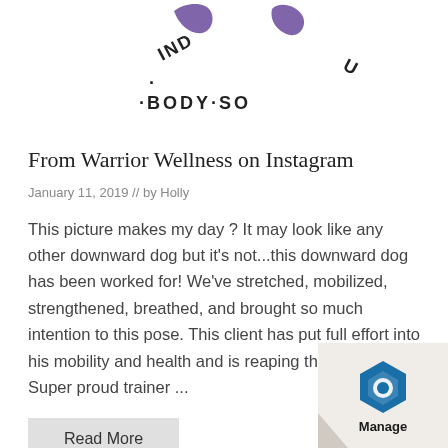[Figure (logo): Partial circular logo with text 'MIND·BODY·SOU' and purple swoosh/leaf shapes at top]
From Warrior Wellness on Instagram
January 11, 2019  //  by Holly
This picture makes my day ? It may look like any other downward dog but it's not...this downward dog has been worked for! We've stretched, mobilized, strengthened, breathed, and brought so much intention to this pose. This client has put full effort into his mobility and health and is reaping the rewards! Super proud trainer ...
Read More
[Figure (logo): Manage engine/badge icon at bottom right corner with page curl effect]